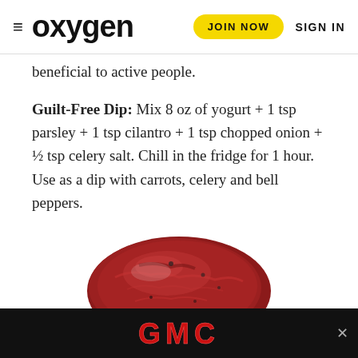oxygen | JOIN NOW | SIGN IN
beneficial to active people.
Guilt-Free Dip: Mix 8 oz of yogurt + 1 tsp parsley + 1 tsp cilantro + 1 tsp chopped onion + ½ tsp celery salt. Chill in the fridge for 1 hour. Use as a dip with carrots, celery and bell peppers.
[Figure (photo): A piece of seasoned cooked steak/beef on a fork against a white background]
[Figure (logo): GMC advertisement banner with red metallic letters on black background with a close X button]